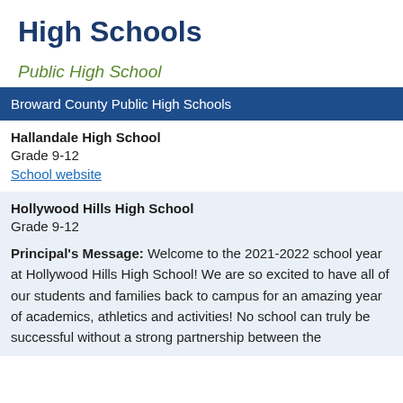High Schools
Public High School
Broward County Public High Schools
Hallandale High School
Grade 9-12
School website
Hollywood Hills High School
Grade 9-12

Principal's Message: Welcome to the 2021-2022 school year at Hollywood Hills High School! We are so excited to have all of our students and families back to campus for an amazing year of academics, athletics and activities! No school can truly be successful without a strong partnership between the